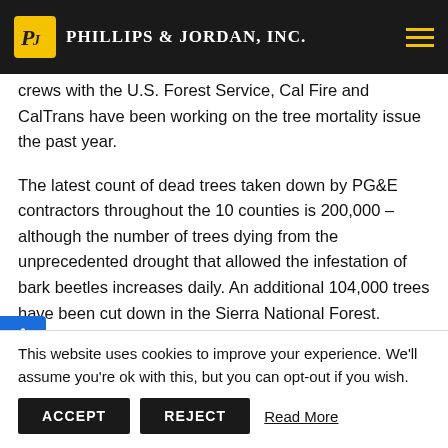Phillips & Jordan, Inc.
crews with the U.S. Forest Service, Cal Fire and CalTrans have been working on the tree mortality issue the past year.
The latest count of dead trees taken down by PG&E contractors throughout the 10 counties is 200,000 – although the number of trees dying from the unprecedented drought that allowed the infestation of bark beetles increases daily. An additional 104,000 trees have been cut down in the Sierra National Forest.
Headquartered in Knoxville, Tennessee, Phillips &
This website uses cookies to improve your experience. We'll assume you're ok with this, but you can opt-out if you wish.